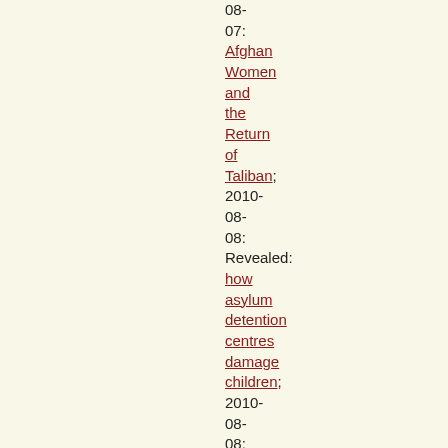08-07: Afghan Women and the Return of Taliban; 2010-08-08: Revealed: how asylum detention centres damage children; 2010-08-08: Opération Beatles; 2010-08-09: Radical Islamic States and